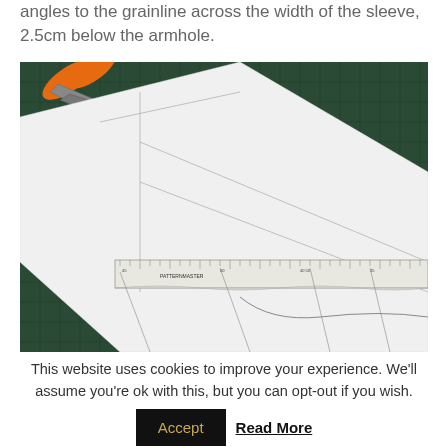angles to the grainline across the width of the sleeve, 2.5cm below the armhole.
[Figure (photo): A sewing pattern cutting mat with orange scissors in the top left corner, white pattern paper laid over a dark green cutting mat, and a Patternmaster ruler placed across the lower portion of the pattern paper with pencil lines drawn on it.]
This website uses cookies to improve your experience. We'll assume you're ok with this, but you can opt-out if you wish.
Accept  Read More